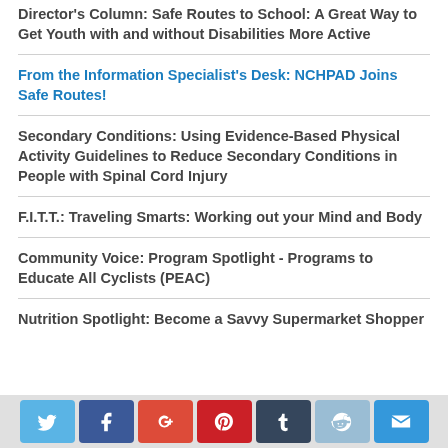Director's Column: Safe Routes to School: A Great Way to Get Youth with and without Disabilities More Active
From the Information Specialist's Desk: NCHPAD Joins Safe Routes!
Secondary Conditions: Using Evidence-Based Physical Activity Guidelines to Reduce Secondary Conditions in People with Spinal Cord Injury
F.I.T.T.: Traveling Smarts: Working out your Mind and Body
Community Voice: Program Spotlight - Programs to Educate All Cyclists (PEAC)
Nutrition Spotlight: Become a Savvy Supermarket Shopper
Social share buttons: Twitter, Facebook, Google+, Pinterest, Tumblr, Reddit, Email